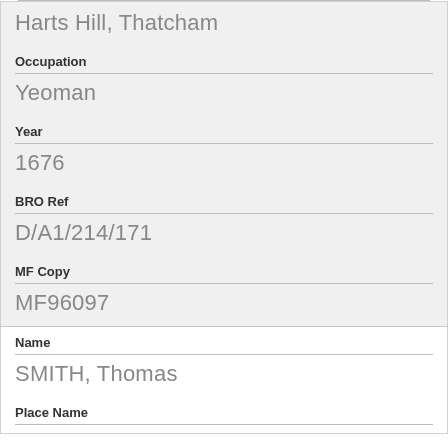Harts Hill, Thatcham
Occupation
Yeoman
Year
1676
BRO Ref
D/A1/214/171
MF Copy
MF96097
Name
SMITH, Thomas
Place Name